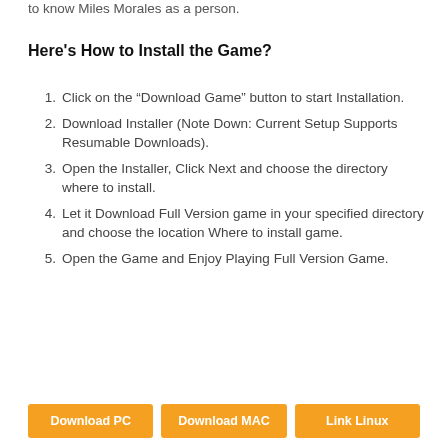to know Miles Morales as a person.
Here's How to Install the Game?
Click on the “Download Game” button to start Installation.
Download Installer (Note Down: Current Setup Supports Resumable Downloads).
Open the Installer, Click Next and choose the directory where to install.
Let it Download Full Version game in your specified directory and choose the location Where to install game.
Open the Game and Enjoy Playing Full Version Game.
Download PC | Download MAC | Link Linux